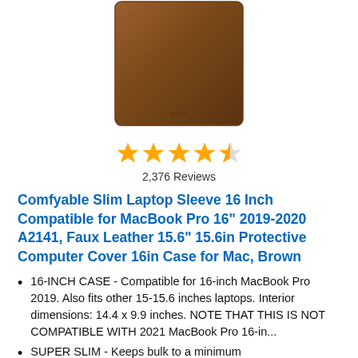[Figure (photo): Brown faux leather laptop sleeve product photo against white background]
[Figure (other): 4.5 star rating shown with gold stars]
2,376 Reviews
Comfyable Slim Laptop Sleeve 16 Inch Compatible for MacBook Pro 16" 2019-2020 A2141, Faux Leather 15.6" 15.6in Protective Computer Cover 16in Case for Mac, Brown
16-INCH CASE - Compatible for 16-inch MacBook Pro 2019. Also fits other 15-15.6 inches laptops. Interior dimensions: 14.4 x 9.9 inches. NOTE THAT THIS IS NOT COMPATIBLE WITH 2021 MacBook Pro 16-in...
SUPER SLIM - Keeps bulk to a minimum
STYLISH & MINIMAL - Front and back of sleeve